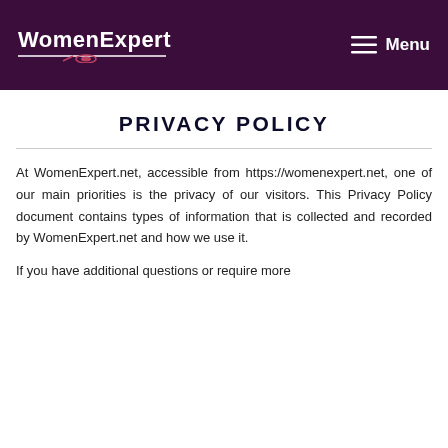WomenExpert  Menu
PRIVACY POLICY
At WomenExpert.net, accessible from https://womenexpert.net, one of our main priorities is the privacy of our visitors. This Privacy Policy document contains types of information that is collected and recorded by WomenExpert.net and how we use it.
If you have additional questions or require more information about our Privacy Policy, please do not